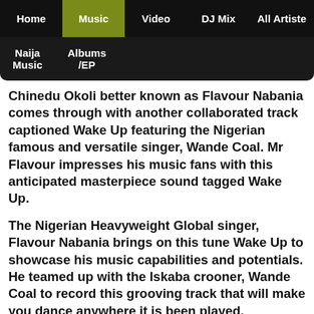Home | Music | Video | DJ Mix | All Artiste
Naija Music | Albums /EP
Chinedu Okoli better known as Flavour Nabania comes through with another collaborated track captioned Wake Up featuring the Nigerian famous and versatile singer, Wande Coal. Mr Flavour impresses his music fans with this anticipated masterpiece sound tagged Wake Up.
The Nigerian Heavyweight Global singer, Flavour Nabania brings on this tune Wake Up to showcase his music capabilities and potentials. He teamed up with the Iskaba crooner, Wande Coal to record this grooving track that will make you dance anywhere it is been played.